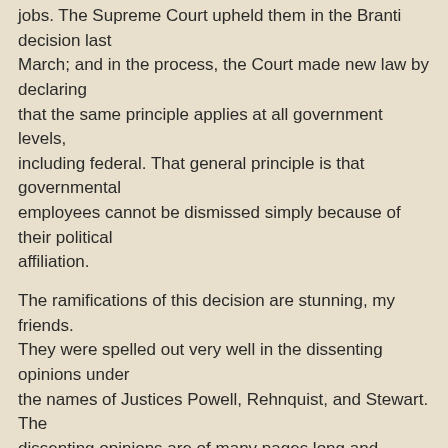jobs. The Supreme Court upheld them in the Branti decision last March; and in the process, the Court made new law by declaring that the same principle applies at all government levels, including federal. That general principle is that governmental employees cannot be dismissed simply because of their political affiliation.

The ramifications of this decision are stunning, my friends. They were spelled out very well in the dissenting opinions under the names of Justices Powell, Rehnquist, and Stewart. The dissenting opinions are of many pages long and naturally are filled with numerous detailed citations and arguments. But let me read a few quotations to you which speak for themselves, quote:

"The Court today continues the evisceration of patronage